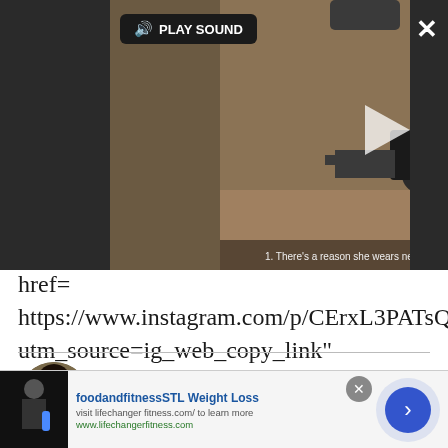[Figure (screenshot): Video player overlay on dark background showing a horse-drawn carriage scene with play sound button and close/expand controls. Caption reads: 1. There's a reason she wears neon ensembles]
href= https://www.instagram.com/p/CErxL3PATsQ/?utm_source=ig_web_copy_link" target="_blank">here</a>.
[Figure (infographic): Advertisement banner: foodandfitnessSTL Weight Loss, visit lifechanger fitness.com/ to learn more, www.lifechangerfitness.com. With close button and blue arrow button.]
Bianca Rodriguez
Editor